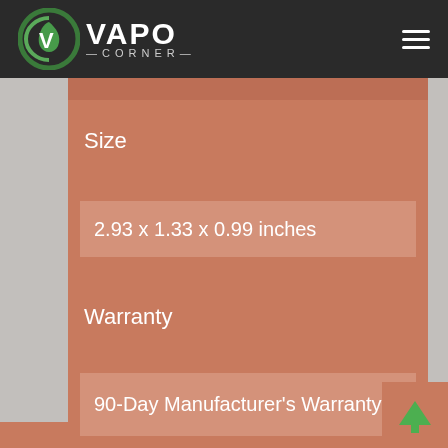VAPO CORNER
Size
2.93 x 1.33 x 0.99 inches
Warranty
90-Day Manufacturer's Warranty